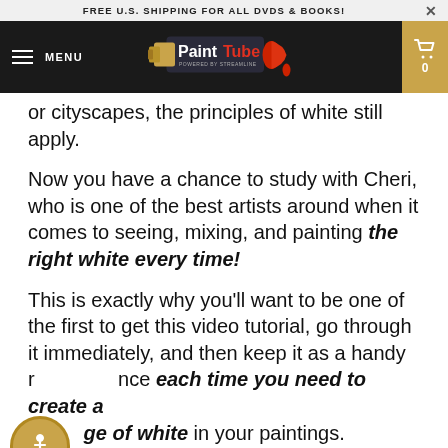FREE U.S. SHIPPING FOR ALL DVDS & BOOKS!
[Figure (logo): PaintTube logo with paint tube graphic and 'POWERED BY STREAMLINE' subtitle, on dark navigation bar with MENU hamburger and cart icon]
or cityscapes, the principles of white still apply.
Now you have a chance to study with Cheri, who is one of the best artists around when it comes to seeing, mixing, and painting the right white every time!
This is exactly why you’ll want to be one of the first to get this video tutorial, go through it immediately, and then keep it as a handy reference each time you need to create a wide range of white in your paintings.